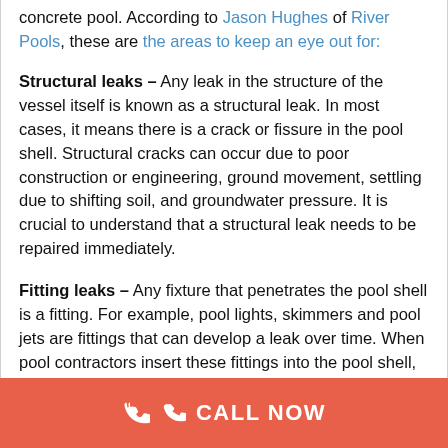concrete pool. According to Jason Hughes of River Pools, these are the areas to keep an eye out for:
Structural leaks – Any leak in the structure of the vessel itself is known as a structural leak. In most cases, it means there is a crack or fissure in the pool shell. Structural cracks can occur due to poor construction or engineering, ground movement, settling due to shifting soil, and groundwater pressure. It is crucial to understand that a structural leak needs to be repaired immediately.
Fitting leaks – Any fixture that penetrates the pool shell is a fitting. For example, pool lights, skimmers and pool jets are fittings that can develop a leak over time. When pool contractors insert these fittings into the pool shell, they pack them with plaster, making these spots vulnerable to leaks. Our blog post – "What to Do About a Leaking Pool Skimmer" – covers this type of leak in detail.
CALL NOW